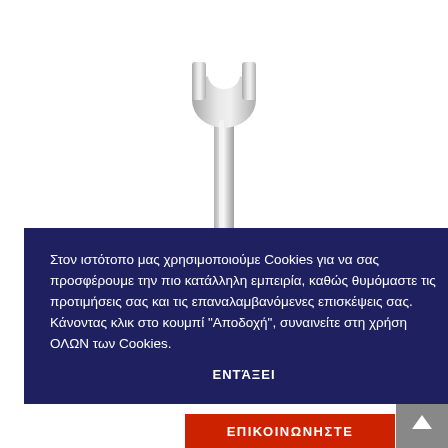[Figure (photo): A silver/chrome combination wrench photographed vertically, with the open end at the top pointing upward, handle extending downward. White background.]
Στον ιστότοπο μας χρησιμοποιούμε Cookies για να σας προσφέρουμε την πιο κατάλληλη εμπειρία, καθώς θυμόμαστε τις προτιμήσεις σας και τις επαναλαμβανόμενες επισκέψεις σας. Κάνοντας κλικ στο κουμπί "Αποδοχή", συναινείτε στη χρήση ΟΛΩΝ των Cookies.
ΕΝΤΑΞΕΙ
70163
ΤΑΝΙΕΣ
ΕΠΙΚΟΙΝΩΝΗΣΤΕ